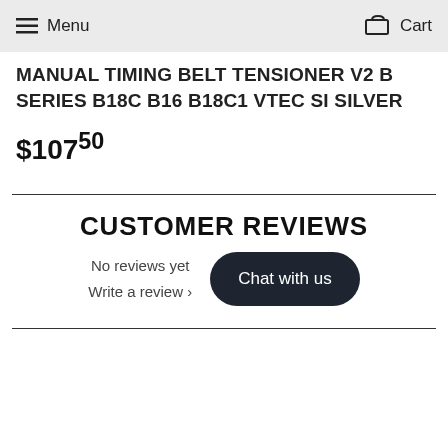Menu   Cart
MANUAL TIMING BELT TENSIONER V2 B SERIES B18C B16 B18C1 VTEC SI SILVER
$107.50
CUSTOMER REVIEWS
No reviews yet
Write a review ›
Chat with us